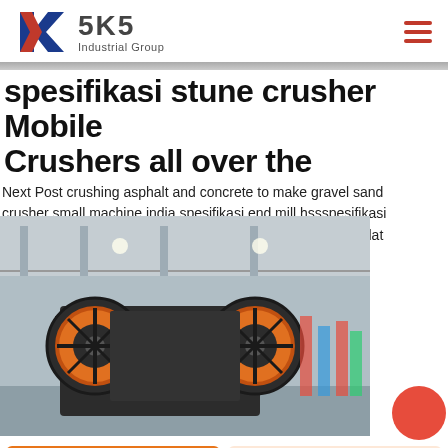[Figure (logo): SKS Industrial Group logo with red and blue K mark and company name]
spesifikasi stune crusher Mobile Crushers all over the
Next Post crushing asphalt and concrete to make gravel sand crusher small machine india spesifikasi end mill hssspesifikasi grinder crusher spesifikasi alat roll crusher spesifikasi rab alat k batu T spesifikasi lesign led in mining
[Figure (photo): Industrial jaw crusher machine inside a factory building]
Get a Quote
WhatsApp